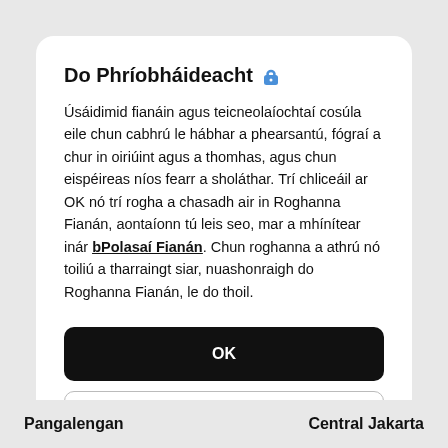Do Phríobháideacht 🔒
Úsáidimid fianáin agus teicneolaíochtaí cosúla eile chun cabhrú le hábhar a phearsantú, fógraí a chur in oiriúint agus a thomhas, agus chun eispéireas níos fearr a sholáthar. Trí chliceáil ar OK nó trí rogha a chasadh air in Roghanna Fianán, aontaíonn tú leis seo, mar a mhínítear inár bPolasaí Fianán. Chun roghanna a athrú nó toiliú a tharraingt siar, nuashonraigh do Roghanna Fianán, le do thoil.
OK
Roghanna Fianán
Pangalengan    Central Jakarta